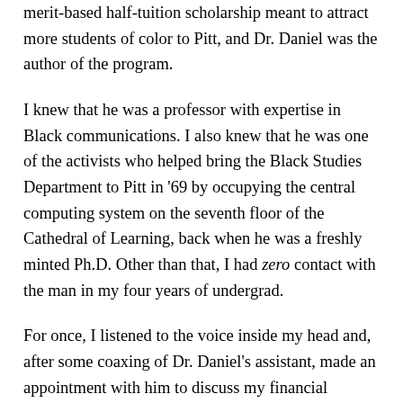merit-based half-tuition scholarship meant to attract more students of color to Pitt, and Dr. Daniel was the author of the program.
I knew that he was a professor with expertise in Black communications. I also knew that he was one of the activists who helped bring the Black Studies Department to Pitt in '69 by occupying the central computing system on the seventh floor of the Cathedral of Learning, back when he was a freshly minted Ph.D. Other than that, I had zero contact with the man in my four years of undergrad.
For once, I listened to the voice inside my head and, after some coaxing of Dr. Daniel's assistant, made an appointment with him to discuss my financial options for going to Pitt for my history MA. I figured that I had nothing to lose. I really only hoped that there was an extra $1,000 or two left in his budget that would at